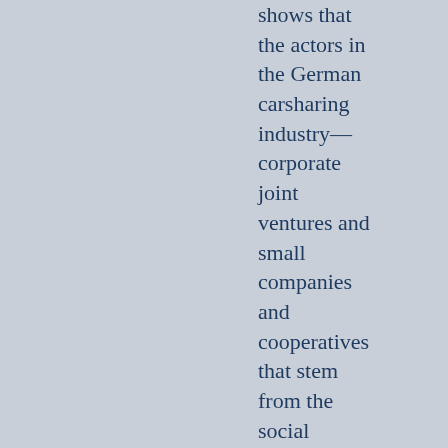shows that the actors in the German carsharing industry—corporate joint ventures and small companies and cooperatives that stem from the social movement that first started carsharing in Germany—are embedded in different business logics.